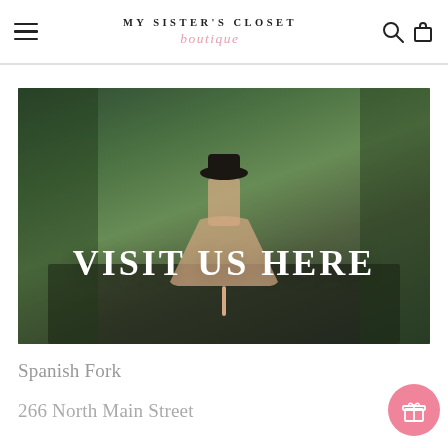MY SISTER'S CLOSET boutique
[Figure (photo): Woman in a long pink/tan dress and black wide-brim hat standing in a lush greenhouse walkway, with overlay text 'VISIT US HERE']
Spanish Fork
266 North Main Street